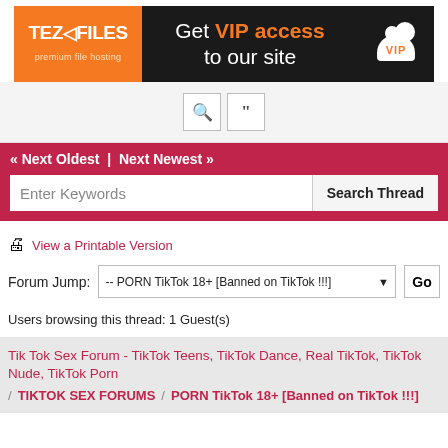[Figure (infographic): TezFiles banner ad: orange left panel with logo, dark background with 'Get VIP access to our site' text and VIP cloud icon]
[Figure (screenshot): Search bar row with magnifier icon and quote icon buttons]
« Next Oldest | Next Newest »
Enter Keywords
Search Thread
View a Printable Version
Forum Jump: -- PORN TikTok 18+ [Banned on TikTok !!!]
Users browsing this thread: 1 Guest(s)
Tik Tok Sex Forum - TikTok Teens, TikTok Dance, Real TikTok, TikTok Nude, TikTok Porn
/ TIKTOK SEX FORUMS / PORN TikTok 18+ [Banned on TikTok !!!]